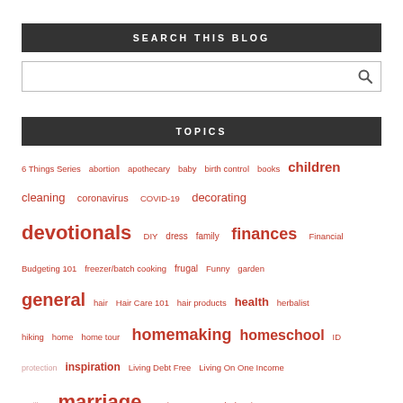SEARCH THIS BLOG
[search input box with search icon]
TOPICS
6 Things Series abortion apothecary baby birth control books children cleaning coronavirus COVID-19 decorating devotionals DIY dress family finances Financial Budgeting 101 freezer/batch cooking frugal Funny garden general hair Hair Care 101 hair products health herbalist hiking home home tour homemaking homeschool ID protection inspiration Living Debt Free Living On One Income mailbag marriage Marriage 101 Meal Planning 101 mealplanning MeToo mother natural remedies news Ohio